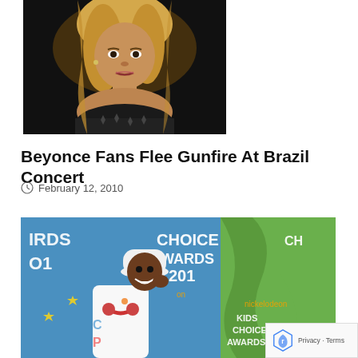[Figure (photo): Close-up photo of a blonde woman in a black strapless outfit performing on a dark stage]
Beyonce Fans Flee Gunfire At Brazil Concert
February 12, 2010
[Figure (photo): Man in white outfit and white cap at Kids Choice Awards backdrop, smiling and holding headphones]
Privacy · Terms